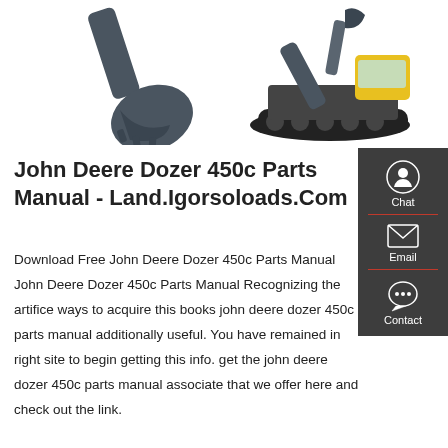[Figure (photo): Excavator bucket arm on left and yellow/black tracked excavator machine on right, partial view, white background]
John Deere Dozer 450c Parts Manual - Land.Igorsoloads.Com
Download Free John Deere Dozer 450c Parts Manual John Deere Dozer 450c Parts Manual Recognizing the artifice ways to acquire this books john deere dozer 450c parts manual additionally useful. You have remained in right site to begin getting this info. get the john deere dozer 450c parts manual associate that we offer here and check out the link.
[Figure (infographic): Dark sidebar with Chat (headset icon), Email (envelope icon), and Contact (speech bubble icon) buttons]
Get a quote